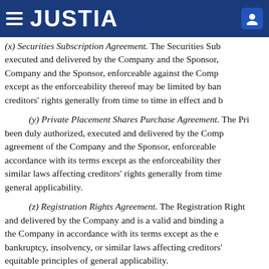JUSTIA
(x) Securities Subscription Agreement. The Securities Subscription Agreement has been duly authorized, executed and delivered by the Company and the Sponsor, and is a valid and binding agreement of the Company and the Sponsor, enforceable against the Company and the Sponsor in accordance with its terms except as the enforceability thereof may be limited by bankruptcy, insolvency, or similar laws affecting creditors' rights generally from time to time in effect and by equitable principles of general applicability.
(y) Private Placement Shares Purchase Agreement. The Private Placement Shares Purchase Agreement has been duly authorized, executed and delivered by the Company and is a valid and binding agreement of the Company and the Sponsor, enforceable against the Company and the Sponsor in accordance with its terms except as the enforceability thereof may be limited by bankruptcy, insolvency, or similar laws affecting creditors' rights generally from time to time in effect and by equitable principles of general applicability.
(z) Registration Rights Agreement. The Registration Rights Agreement has been duly authorized and delivered by the Company and is a valid and binding agreement of the Company and is enforceable against the Company in accordance with its terms except as the enforceability thereof may be limited by bankruptcy, insolvency, or similar laws affecting creditors' rights generally from time to time in effect and by equitable principles of general applicability.